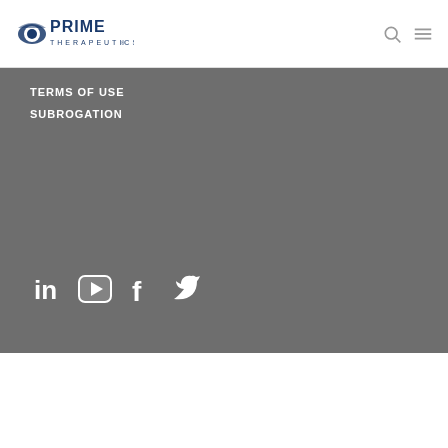[Figure (logo): Prime Therapeutics logo with eye/leaf icon and company name]
TERMS OF USE
SUBROGATION
[Figure (infographic): Social media icons: LinkedIn, YouTube, Facebook, Twitter in white on gray background]
[Figure (infographic): Four certification badges: NCQA Certified Health Information Product, URAC Accredited Pharmacy Benefit Management Expires 01/01/2025, HITRUST CSF Certified, AICPA SOC]